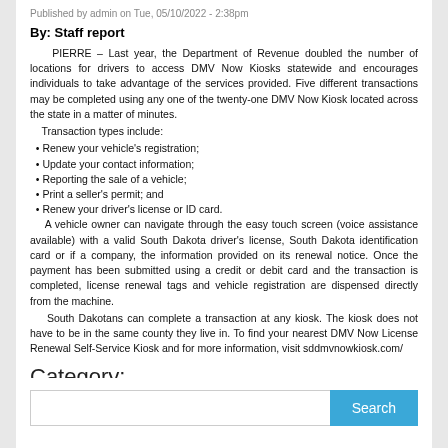Published by admin on Tue, 05/10/2022 - 2:38pm
By: Staff report
PIERRE – Last year, the Department of Revenue doubled the number of locations for drivers to access DMV Now Kiosks statewide and encourages individuals to take advantage of the services provided. Five different transactions may be completed using any one of the twenty-one DMV Now Kiosk located across the state in a matter of minutes.
    Transaction types include:
• Renew your vehicle's registration;
• Update your contact information;
• Reporting the sale of a vehicle;
• Print a seller's permit; and
• Renew your driver's license or ID card.
A vehicle owner can navigate through the easy touch screen (voice assistance available) with a valid South Dakota driver's license, South Dakota identification card or if a company, the information provided on its renewal notice. Once the payment has been submitted using a credit or debit card and the transaction is completed, license renewal tags and vehicle registration are dispensed directly from the machine.
South Dakotans can complete a transaction at any kiosk. The kiosk does not have to be in the same county they live in. To find your nearest DMV Now License Renewal Self-Service Kiosk and for more information, visit sddmvnowkiosk.com/
Category:
News